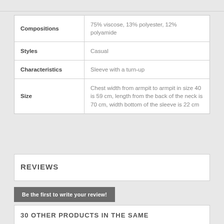|  |  |
| --- | --- |
| Compositions | 75% viscose, 13% polyester, 12% polyamide |
| Styles | Casual |
| Characteristics | Sleeve with a turn-up |
| Size | Chest width from armpit to armpit in size 40 is 59 cm, length from the back of the neck is 70 cm, width bottom of the sleeve is 22 cm |
REVIEWS
Be the first to write your review!
30 OTHER PRODUCTS IN THE SAME